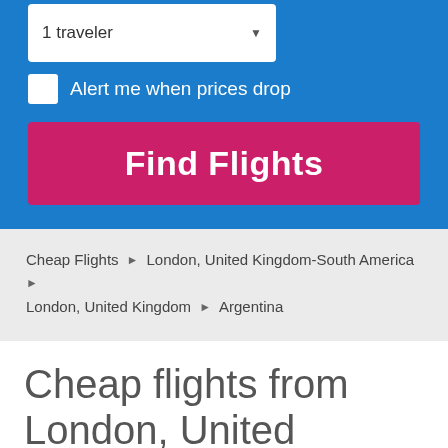1 traveler
Alert me when prices drop
Find Flights
Cheap Flights > London, United Kingdom-South America > London, United Kingdom > Argentina
Cheap flights from London, United Kingdom (LON) to popular destinations in Argentina (AR)